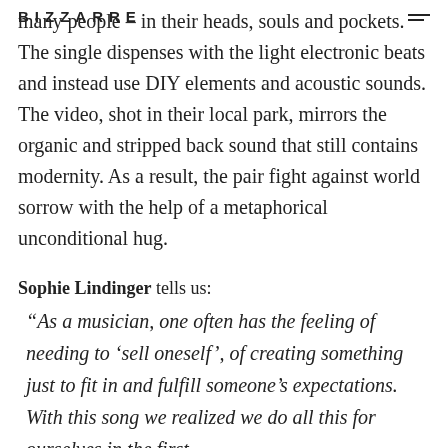BIZZARRE
many people – in their heads, souls and pockets. The single dispenses with the light electronic beats and instead use DIY elements and acoustic sounds. The video, shot in their local park, mirrors the organic and stripped back sound that still contains modernity. As a result, the pair fight against world sorrow with the help of a metaphorical unconditional hug.
Sophie Lindinger tells us:
“As a musician, one often has the feeling of needing to ‘sell oneself’, of creating something just to fit in and fulfill someone’s expectations. With this song we realized we do all this for ourselves in the first